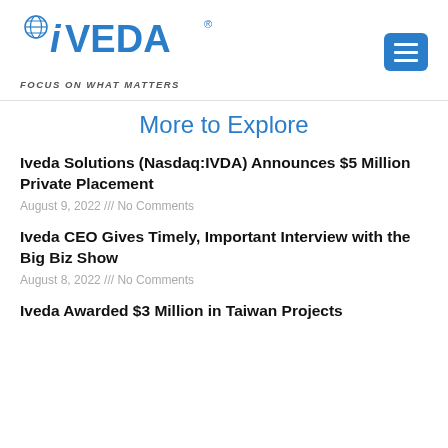[Figure (logo): Iveda logo with globe icon and text 'IVEDA® FOCUS ON WHAT MATTERS']
More to Explore
Iveda Solutions (Nasdaq:IVDA) Announces $5 Million Private Placement
August 9, 2022 /// No Comments
Iveda CEO Gives Timely, Important Interview with the Big Biz Show
August 8, 2022 /// No Comments
Iveda Awarded $3 Million in Taiwan Projects